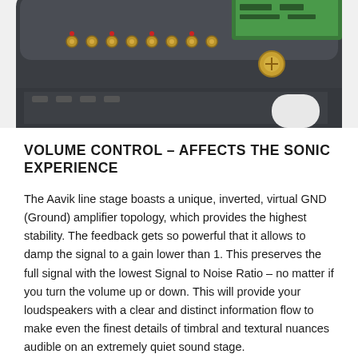[Figure (photo): Partial top view of an Aavik audio amplifier/preamplifier device showing connectors, gold binding posts, and circuit board components on a dark chassis.]
VOLUME CONTROL – AFFECTS THE SONIC EXPERIENCE
The Aavik line stage boasts a unique, inverted, virtual GND (Ground) amplifier topology, which provides the highest stability. The feedback gets so powerful that it allows to damp the signal to a gain lower than 1. This preserves the full signal with the lowest Signal to Noise Ratio – no matter if you turn the volume up or down. This will provide your loudspeakers with a clear and distinct information flow to make even the finest details of timbral and textural nuances audible on an extremely quiet sound stage.